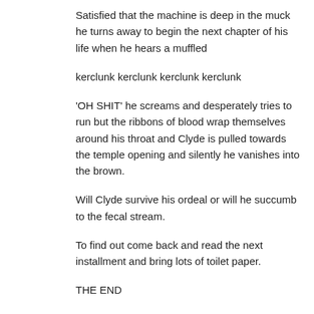Satisfied that the machine is deep in the muck he turns away to begin the next chapter of his life when he hears a muffled
kerclunk kerclunk kerclunk kerclunk
'OH SHIT' he screams and desperately tries to run but the ribbons of blood wrap themselves around his throat and Clyde is pulled towards the temple opening and silently he vanishes into the brown.
Will Clyde survive his ordeal or will he succumb to the fecal stream.
To find out come back and read the next installment and bring lots of toilet paper.
THE END